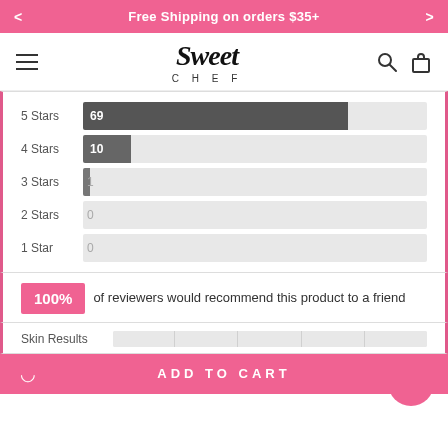< Free Shipping on orders $35+ >
[Figure (logo): Sweet Chef logo with cursive 'Sweet' text and 'CHEF' in spaced capitals below]
[Figure (bar-chart): Star Ratings Distribution]
100% of reviewers would recommend this product to a friend
Skin Results
ADD TO CART